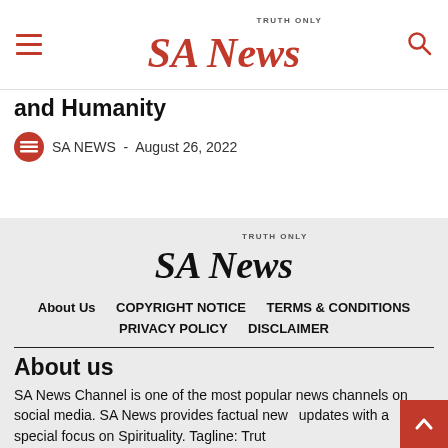SA News — TRUTH ONLY
and Humanity
SA NEWS - August 26, 2022
[Figure (logo): SA News logo with TRUTH ONLY tagline in footer area]
About Us   COPYRIGHT NOTICE   TERMS & CONDITIONS   PRIVACY POLICY   DISCLAIMER
About us
SA News Channel is one of the most popular news channels on social media. SA News provides factual news updates with a special focus on Spirituality. Tagline: Truth